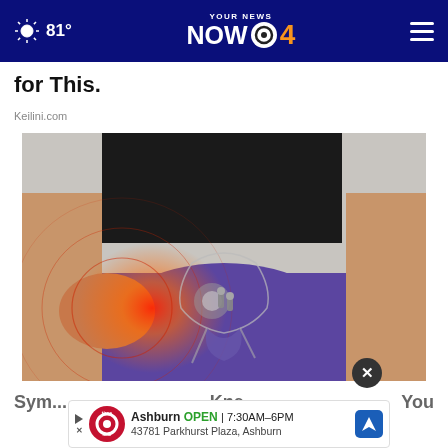81° | YOUR NEWS NOW CBS 4
for This.
Keilini.com
[Figure (photo): Person in black shirt and purple leggings holding hip area with X-ray overlay showing pelvis and hip joint anatomy with red pain highlight illustration]
Sym... Kne...
Ashburn OPEN | 7:30AM–6PM  43781 Parkhurst Plaza, Ashburn